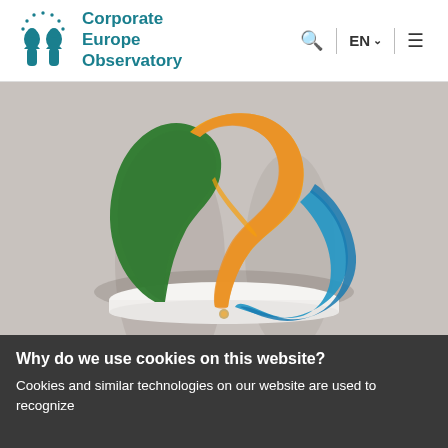Corporate Europe Observatory
[Figure (photo): A colorful abstract sculpture with green, orange, yellow, and blue interlocking curved forms, displayed on a white circular pedestal against a light grey wall.]
Why do we use cookies on this website?
Cookies and similar technologies on our website are used to recognize